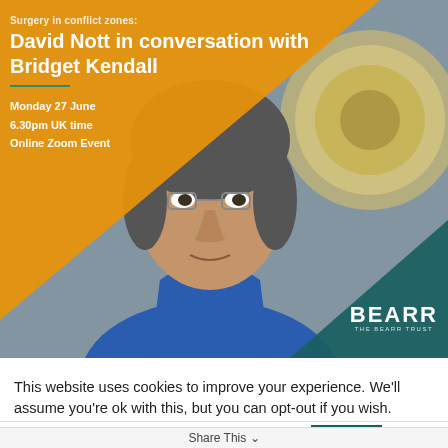[Figure (photo): Event promotional image: man in blue surgical scrubs in front of medical equipment and surgical lights, with orange diagonal overlay top-left and teal triangle bottom-right. BEARR Trust logo in bottom-right corner.]
David Nott in conversation with Bridget Kendall
Monday 27 June
6.30pm UK time
Online Zoom Event
This website uses cookies to improve your experience. We'll assume you're ok with this, but you can opt-out if you wish.
View Privacy Policy   Cookie settings   ACCEPT   ✕
Share This ∨